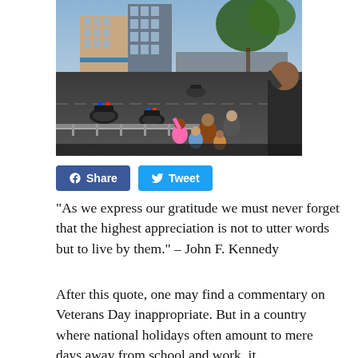[Figure (photo): A Veterans Day parade scene with motorcycles and police escort riding down a city street, lined with crowds of people including children waving, with urban buildings and trees in the background.]
Share  Tweet
“As we express our gratitude we must never forget that the highest appreciation is not to utter words but to live by them.” – John F. Kennedy
After this quote, one may find a commentary on Veterans Day inappropriate. But in a country where national holidays often amount to mere days away from school and work, it